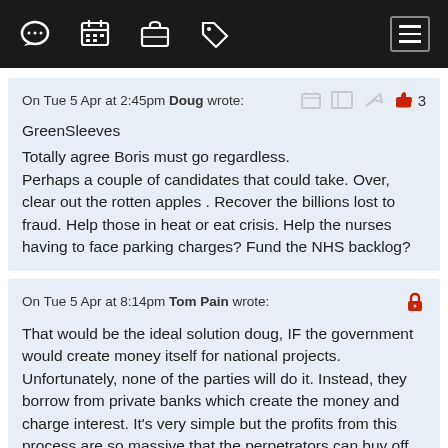Navigation bar with icons: chat, calendar, briefcase, tag, hamburger menu
On Tue 5 Apr at 2:45pm Doug wrote:
GreenSleeves
Totally agree Boris must go regardless.
Perhaps a couple of candidates that could take. Over, clear out the rotten apples . Recover the billions lost to fraud. Help those in heat or eat crisis. Help the nurses having to face parking charges? Fund the NHS backlog?
On Tue 5 Apr at 8:14pm Tom Pain wrote:
That would be the ideal solution doug, IF the government would create money itself for national projects. Unfortunately, none of the parties will do it. Instead, they borrow from private banks which create the money and charge interest. It's very simple but the profits from this process are so massive that the perpetrators can buy off anyone who threatens their nice little